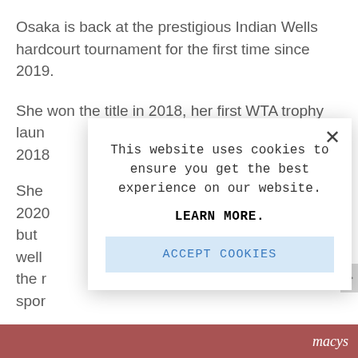Osaka is back at the prestigious Indian Wells hardcourt tournament for the first time since 2019.
She won the title in 2018, her first WTA trophy laun 2018
She 2020 but well the r spor
She
[Figure (screenshot): Cookie consent modal dialog overlaying a news article. Modal contains close button (×), text 'This website uses cookies to ensure you get the best experience on our website.', a LEARN MORE link in bold, and an ACCEPT COOKIES button with light blue background.]